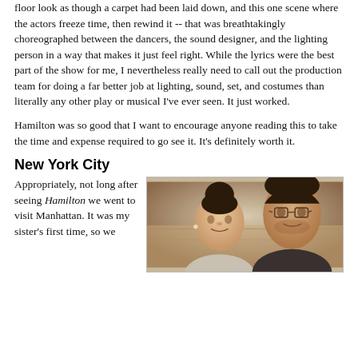floor look as though a carpet had been laid down, and this one scene where the actors freeze time, then rewind it -- that was breathtakingly choreographed between the dancers, the sound designer, and the lighting person in a way that makes it just feel right. While the lyrics were the best part of the show for me, I nevertheless really need to call out the production team for doing a far better job at lighting, sound, set, and costumes than literally any other play or musical I've ever seen. It just worked.

Hamilton was so good that I want to encourage anyone reading this to take the time and expense required to go see it. It's definitely worth it.
New York City
Appropriately, not long after seeing Hamilton we went to visit Manhattan. It was my sister's first time, so we
[Figure (photo): A selfie photo of two people — a young woman with dark hair in a bun and a man wearing glasses — appearing to be indoors, possibly in a grand building.]